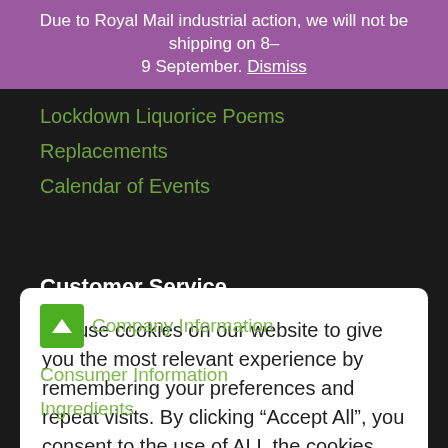Due to Royal Mail industrial action, we will not be shipping on 8–9 September. Dismiss
Lockdown Liquorice Poems
Replacements
Calendar of Events
We use cookies on our website to give you the most relevant experience by remembering your preferences and repeat visits. By clicking “Accept All”, you consent to the use of ALL the cookies. However, you may visit “Cookie Settings” to provide a controlled consent.
Cookie Settings | Accept All
Customer Service
Company Information
Consumer Information
Ingredients